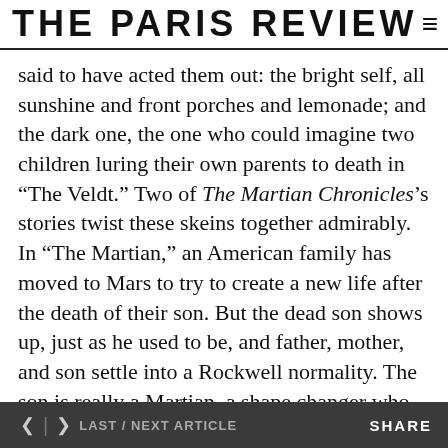THE PARIS REVIEW
said to have acted them out: the bright self, all sunshine and front porches and lemonade; and the dark one, the one who could imagine two children luring their own parents to death in “The Veldt.” Two of The Martian Chronicles’s stories twist these skeins together admirably. In “The Martian,” an American family has moved to Mars to try to create a new life after the death of their son. But the dead son shows up, just as he used to be, and father, mother, and son settle into a Rockwell normality. The son is really a Martian, a shape changer who reflects the desires of others, and the story spirals down into tragedy, with the equivalent of a mob lynching at the end.
In “The Third Expedition”— called, originally, “Mars is
< > LAST / NEXT ARTICLE    SHARE